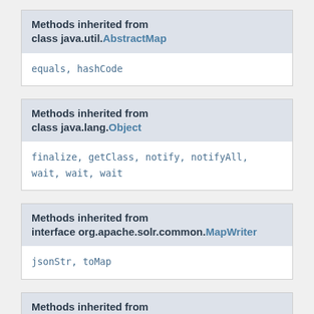Methods inherited from class java.util.AbstractMap
equals, hashCode
Methods inherited from class java.lang.Object
finalize, getClass, notify, notifyAll, wait, wait, wait
Methods inherited from interface org.apache.solr.common.MapWriter
jsonStr, toMap
Methods inherited from interface org.apache.solr.common.NavigableObject
_forEachEntry, _forEachEntry, forEachEntry, getStr, getStr